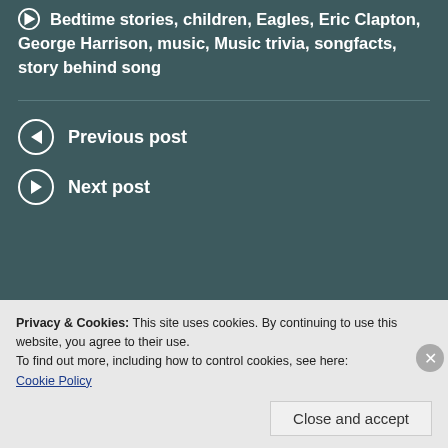Bedtime stories, children, Eagles, Eric Clapton, George Harrison, music, Music trivia, songfacts, story behind song
Previous post
Next post
What's On Your Mind?
Your email address will not be published. Required fields are marked
Privacy & Cookies: This site uses cookies. By continuing to use this website, you agree to their use.
To find out more, including how to control cookies, see here: Cookie Policy
Close and accept